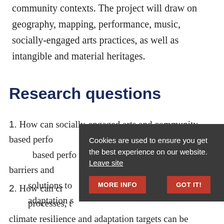community contexts. The project will draw on geography, mapping, performance, music, socially-engaged arts practices, as well as intangible and material heritages.
Research questions
1. How can socially-engaged arts and community-based performance methods identify barriers and solutions to ... adaptation ...
2. How can creative ... processes, t... climate resilience and adaptation targets can be
Cookies are used to ensure you get the best experience on our website. Leave site
MORE INFO   GOT IT!